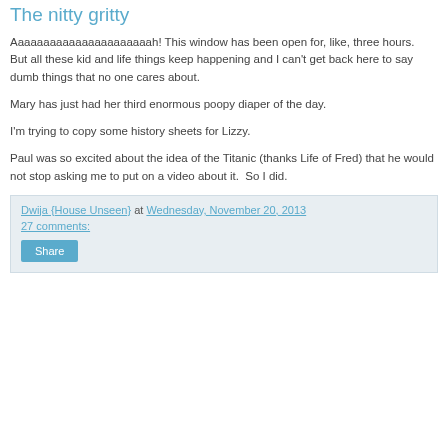The nitty gritty
Aaaaaaaaaaaaaaaaaaaaaah! This window has been open for, like, three hours.  But all these kid and life things keep happening and I can't get back here to say dumb things that no one cares about.
Mary has just had her third enormous poopy diaper of the day.
I'm trying to copy some history sheets for Lizzy.
Paul was so excited about the idea of the Titanic (thanks Life of Fred) that he would not stop asking me to put on a video about it.  So I did.
Dwija {House Unseen} at Wednesday, November 20, 2013
27 comments:
Share